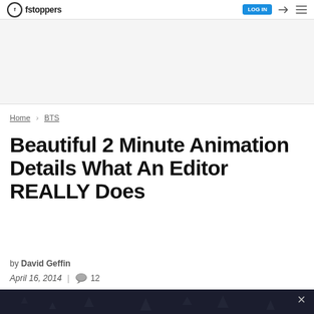fstoppers — LOG IN (navigation icons)
Home > BTS
Beautiful 2 Minute Animation Details What An Editor REALLY Does
by David Geffin
April 16, 2014 | 12 comments
[Figure (screenshot): Dark banner/video thumbnail area at the bottom of the page with a close (X) button]